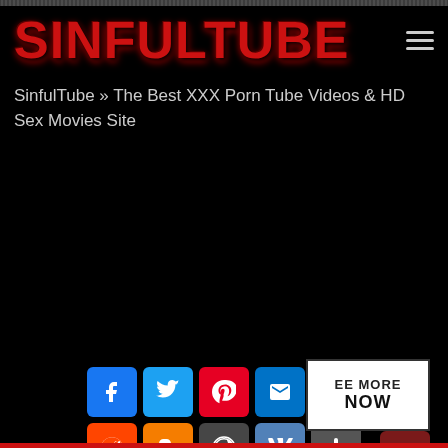[Figure (logo): SinfulTube website logo in red dripping horror-style font on black background]
SinfulTube » The Best XXX Porn Tube Videos & HD Sex Movies Site
[Figure (infographic): Row of social media share buttons: Facebook, Twitter, Pinterest, Email, Tumblr; second row: Reddit, Blogger, WordPress, VK, More. A 'SEE MORE NOW' overlay box and a scroll-up arrow button are visible.]